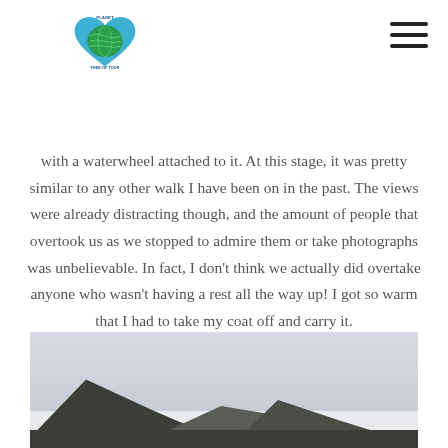Planet Free of Tour logo and hamburger menu
Cwellyn, we followed a sign painted on to a large rock, which said 'path', with an arrow towards a fairly rapid climb up some zig zags. This was next to a farmhouse with a waterwheel attached to it. At this stage, it was pretty similar to any other walk I have been on in the past. The views were already distracting though, and the amount of people that overtook us as we stopped to admire them or take photographs was unbelievable. In fact, I don't think we actually did overtake anyone who wasn't having a rest all the way up! I got so warm that I had to take my coat off and carry it.
[Figure (photo): Mountain landscape photograph showing dark rocky mountain peaks against a pale grey overcast sky, taken from a low vantage point.]